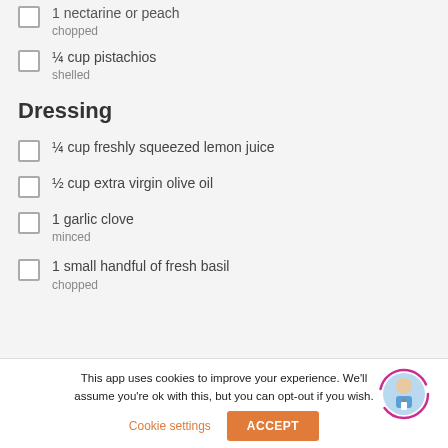¼ cup pistachios
Dressing
¼ cup freshly squeezed lemon juice
½ cup extra virgin olive oil
1 garlic clove
1 small handful of fresh basil
This app uses cookies to improve your experience. We'll assume you're ok with this, but you can opt-out if you wish.
Cookie settings
ACCEPT